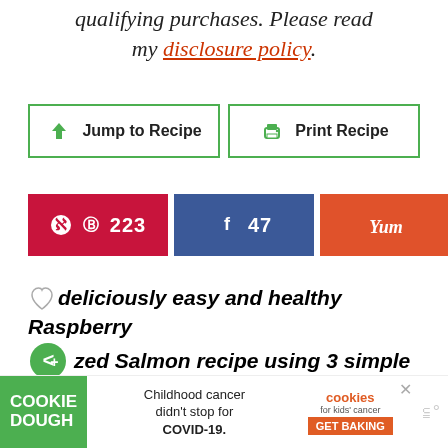qualifying purchases. Please read my disclosure policy.
[Figure (other): Two buttons: 'Jump to Recipe' with green download arrow icon and 'Print Recipe' with green printer icon, both with green borders]
[Figure (other): Social share buttons: Pinterest (red, 223), Facebook (blue, 47), Yummly (orange), and share count showing 271 SHARES]
...deliciously easy and healthy Raspberry Glazed Salmon recipe using 3 simple ingredients for out of this world flavor ...simple steps to the best baked restaurant style salmon ever!
[Figure (other): What's Next bar showing Healthy Hibiscus... with a red circular food image]
[Figure (other): Cookie Dough advertisement: Childhood cancer didn't stop for COVID-19. GET BAKING - cookies for kids' cancer]